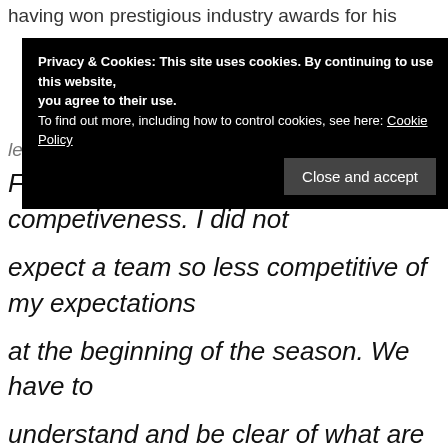having won prestigious industry awards for his
Privacy & Cookies: This site uses cookies. By continuing to use this website, you agree to their use.
To find out more, including how to control cookies, see here: Cookie Policy
[Close and accept]
Ferrari were in terms of competiveness. I did not expect a team so less competitive of my expectations at the beginning of the season. We have to understand and be clear of what are the problems, why we are not competitive and to improve the situation as soon as possible without losing our calm. We have to have it clearly laid out in front of us what the short-term goals, medium-term goals and our